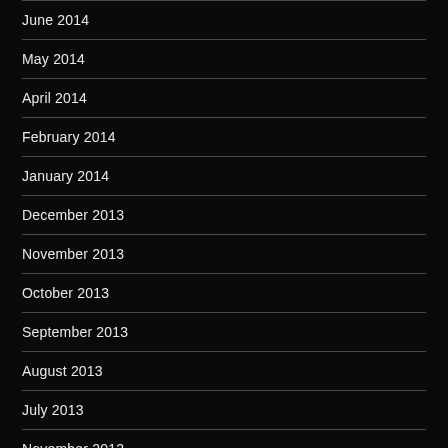June 2014
May 2014
April 2014
February 2014
January 2014
December 2013
November 2013
October 2013
September 2013
August 2013
July 2013
November 2012